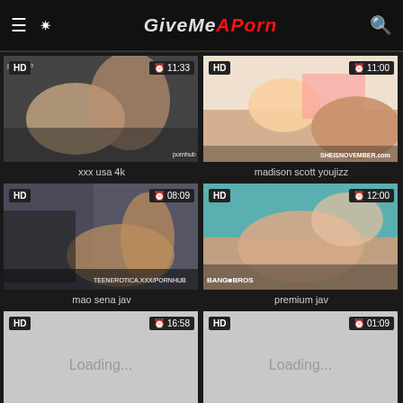GiveMeAPorn
[Figure (screenshot): Video thumbnail 1: xxx usa 4k, HD, 11:33]
xxx usa 4k
[Figure (screenshot): Video thumbnail 2: madison scott youjizz, HD, 11:00]
madison scott youjizz
[Figure (screenshot): Video thumbnail 3: mao sena jav, HD, 08:09]
mao sena jav
[Figure (screenshot): Video thumbnail 4: premium jav, HD, 12:00]
premium jav
[Figure (screenshot): Video thumbnail 5: Loading..., HD, 16:58]
[Figure (screenshot): Video thumbnail 6: Loading..., HD, 01:09]